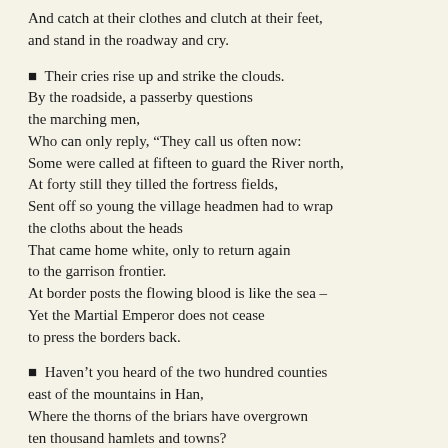And catch at their clothes and clutch at their feet,
and stand in the roadway and cry.
■ Their cries rise up and strike the clouds.
By the roadside, a passerby questions
the marching men,
Who can only reply, “They call us often now:
Some were called at fifteen to guard the River north,
At forty still they tilled the fortress fields,
Sent off so young the village headmen had to wrap
the cloths about the heads
That came home white, only to return again
to the garrison frontier.
At border posts the flowing blood is like the sea –
Yet the Martial Emperor does not cease
to press the borders back.
■ Haven’t you heard of the two hundred counties
east of the mountains in Han,
Where the thorns of the briars have overgrown
ten thousand hamlets and towns?
Even where a sturdy wife may ply the hoe and plough,
The grain lies over patchwork fields
with borders overgrown.